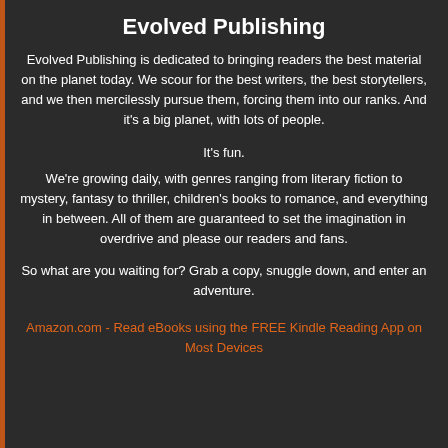Evolved Publishing
Evolved Publishing is dedicated to bringing readers the best material on the planet today. We scour for the best writers, the best storytellers, and we then mercilessly pursue them, forcing them into our ranks. And it's a big planet, with lots of people.
It's fun.
We're growing daily, with genres ranging from literary fiction to mystery, fantasy to thriller, children's books to romance, and everything in between. All of them are guaranteed to set the imagination in overdrive and please our readers and fans.
So what are you waiting for? Grab a copy, snuggle down, and enter an adventure.
Amazon.com - Read eBooks using the FREE Kindle Reading App on Most Devices